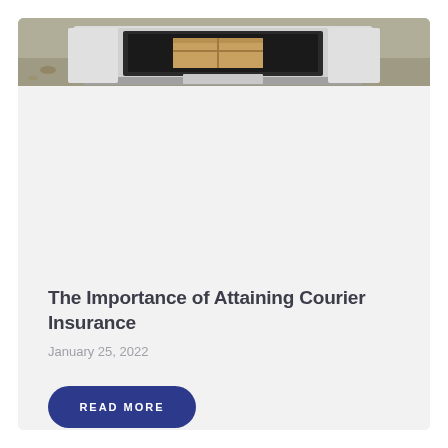[Figure (photo): Rear view of a white delivery van with open trunk showing a cardboard box, parked on a gravel driveway with autumn leaves visible]
The Importance of Attaining Courier Insurance
January 25, 2022
READ MORE